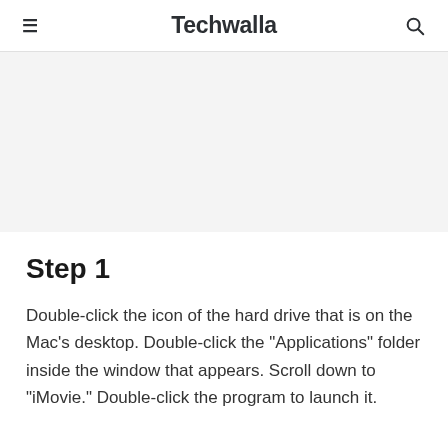Techwalla
[Figure (other): Gray advertisement/banner placeholder area]
Step 1
Double-click the icon of the hard drive that is on the Mac's desktop. Double-click the "Applications" folder inside the window that appears. Scroll down to "iMovie." Double-click the program to launch it.